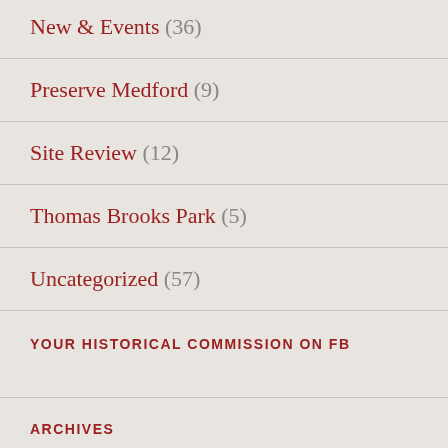New & Events (36)
Preserve Medford (9)
Site Review (12)
Thomas Brooks Park (5)
Uncategorized (57)
YOUR HISTORICAL COMMISSION ON FB
ARCHIVES